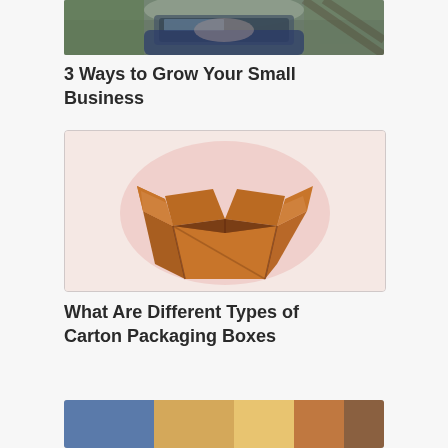[Figure (photo): Partial photo of a person sitting outdoors using a laptop computer, cropped at top]
3 Ways to Grow Your Small Business
[Figure (illustration): Illustration of an open cardboard box on a pink circular background, with border]
What Are Different Types of Carton Packaging Boxes
[Figure (photo): Partial photo at bottom, cropped, showing colorful items]